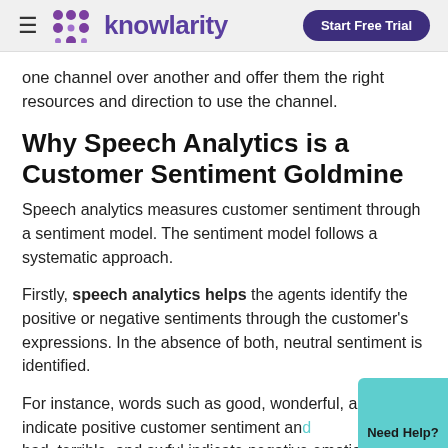Knowlarity – Start Free Trial
one channel over another and offer them the right resources and direction to use the channel.
Why Speech Analytics is a Customer Sentiment Goldmine
Speech analytics measures customer sentiment through a sentiment model. The sentiment model follows a systematic approach.
Firstly, speech analytics helps the agents identify the positive or negative sentiments through the customer's expressions. In the absence of both, neutral sentiment is identified.
For instance, words such as good, wonderful, and great indicate positive customer sentiment and bad, terrible, and awful indicate negative emotions. Such expressions of sentiments are